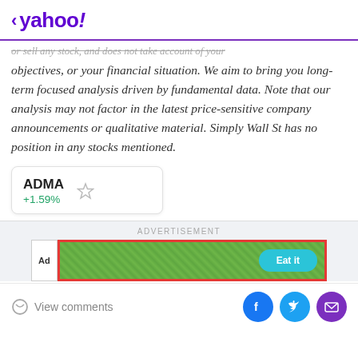< yahoo!
or sell any stock, and does not take account of your objectives, or your financial situation. We aim to bring you long-term focused analysis driven by fundamental data. Note that our analysis may not factor in the latest price-sensitive company announcements or qualitative material. Simply Wall St has no position in any stocks mentioned.
ADMA +1.59%
[Figure (screenshot): Advertisement banner with green background, Ad tag, and a cyan Eat it button with red border]
View comments